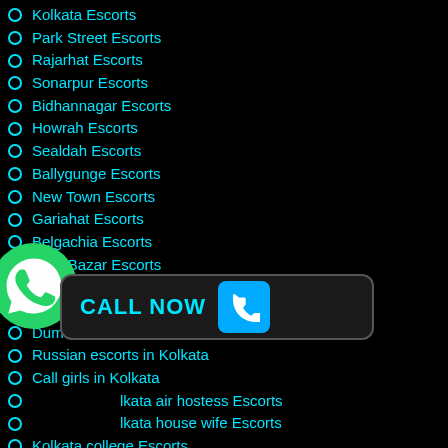Kolkata Escorts
Park Street Escorts
Rajarhat Escorts
Sonarpur Escorts
Bidhannagar Escorts
Howrah Escorts
Sealdah Escorts
Ballygunge Escorts
New Town Escorts
Gariahat Escorts
Belgachia Escorts
Bara Bazar Escorts
Baguitati Escorts
Ultadanga Escorts
Dumdum Escorts
Russian escorts in Kolkata
Call girls in Kolkata
Kolkata air hostess Escorts
Kolkata house wife Escorts
Kolkata college Escorts
Kolkata busty Escorts
Kolkata BDMS Escorts
Kolkata party Escorts
Body massage call girls in kolkata
Call girls Mobile no Kolkata
[Figure (logo): WhatsApp logo icon (green circle with white phone handset)]
[Figure (infographic): CALL NOW button with cyan text and blue phone icon on dark background]